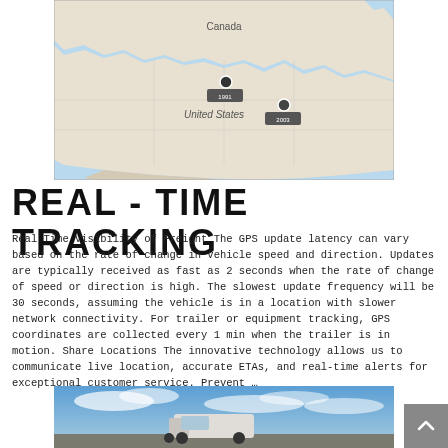[Figure (map): Map of North America (United States and Canada) showing two GPS tracking pin markers — one near the upper Midwest/Minnesota area and one near the Great Lakes/Ohio area.]
REAL - TIME TRACKING
Real Time Visibility of Freight The GPS update latency can vary based on the rate of change in vehicle speed and direction. Updates are typically received as fast as 2 seconds when the rate of change of speed or direction is high. The slowest update frequency will be 30 seconds, assuming the vehicle is in a location with slower network connectivity. For trailer or equipment tracking, GPS coordinates are collected every 1 min when the trailer is in motion. Share Locations The innovative technology allows us to communicate live location, accurate ETAs, and real-time alerts for exceptional customer service. Prevent …
[Figure (photo): Photo of a white semi-truck cab driving against a blue sky with clouds.]